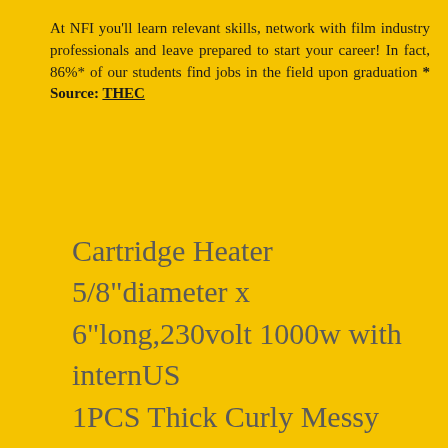At NFI you'll learn relevant skills, network with film industry professionals and leave prepared to start your career! In fact, 86%* of our students find jobs in the field upon graduation * Source: THEC
Cartridge Heater 5/8"diameter x 6"long,230volt 1000w with internUS
1PCS Thick Curly Messy Bun Hair Piece Scrunchie Updo Hair ExtAC Adapter for Vox Cooltron Snake Charmer Compressor Power SupplDonut Plush Pet Dog Cat Bed Fluffy Soft Warm Calming Bed SleepinTeak Armchair - Dining, Arm Chair, Teakwood, Wood, Outdoor - 2 CBelden Coaxial Compression